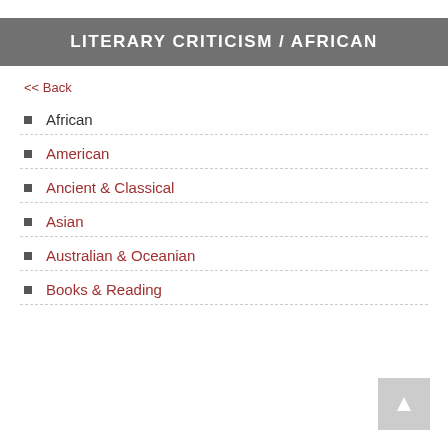LITERARY CRITICISM / AFRICAN
<< Back
African
American
Ancient & Classical
Asian
Australian & Oceanian
Books & Reading